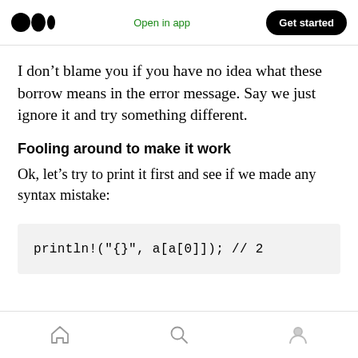Open in app | Get started
I don't blame you if you have no idea what these borrow means in the error message. Say we just ignore it and try something different.
Fooling around to make it work
Ok, let's try to print it first and see if we made any syntax mistake:
println!("{}", a[a[0]]);  // 2
home | search | profile